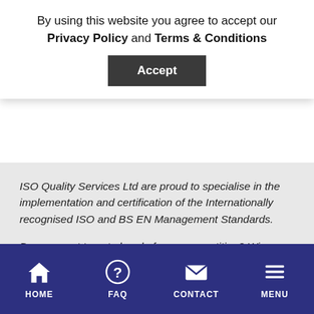By using this website you agree to accept our Privacy Policy and Terms & Conditions
Accept
ISO Quality Services Ltd are proud to specialise in the implementation and certification of the Internationally recognised ISO and BS EN Management Standards.
Do you want to get ahead of your competition? Win more tenders or save time and money on reoccurring issues? Contact us today on 0330 058 5551 or email info@isoqsltd.com.
Alternatively, you can request a quote by filling out our enquiry form and a member of our team will be in touch shortly.
HOME | FAQ | CONTACT | MENU